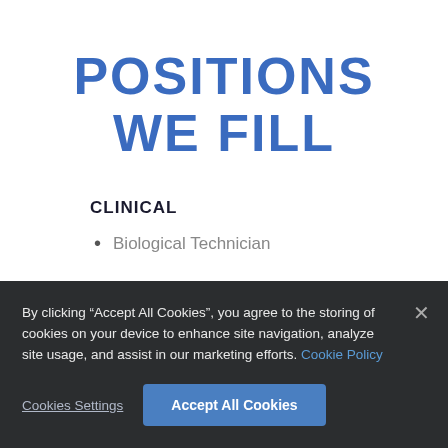POSITIONS WE FILL
CLINICAL
Biological Technician
By clicking “Accept All Cookies”, you agree to the storing of cookies on your device to enhance site navigation, analyze site usage, and assist in our marketing efforts. Cookie Policy
Cookies Settings
Accept All Cookies